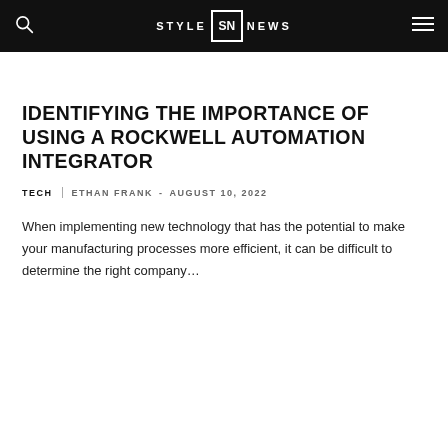STYLE SN NEWS
IDENTIFYING THE IMPORTANCE OF USING A ROCKWELL AUTOMATION INTEGRATOR
TECH   ETHAN FRANK  -  AUGUST 10, 2022
When implementing new technology that has the potential to make your manufacturing processes more efficient, it can be difficult to determine the right company...